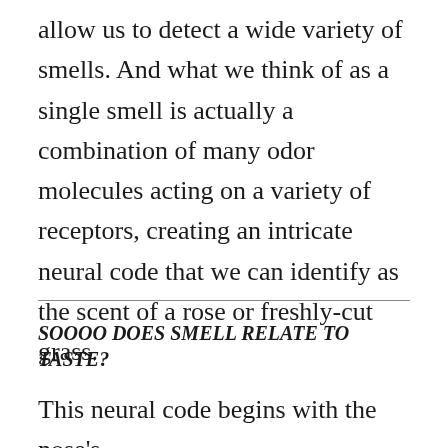allow us to detect a wide variety of smells. And what we think of as a single smell is actually a combination of many odor molecules acting on a variety of receptors, creating an intricate neural code that we can identify as the scent of a rose or freshly-cut grass.
SOOOO DOES SMELL RELATE TO TASTE?
This neural code begins with the nose's